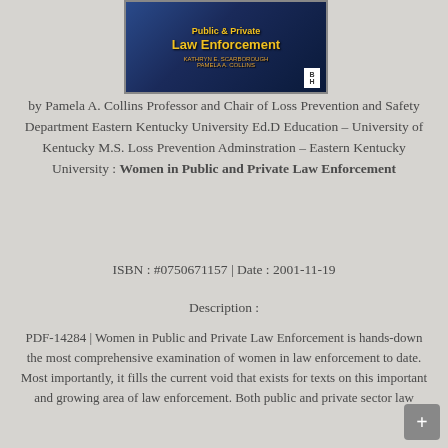[Figure (photo): Book cover for 'Women in Public and Private Law Enforcement' by Kathryn E. Scarborough and Pamela A. Collins, with Butterworth-Heinemann (BH) logo, dark blue background with yellow title text]
by Pamela A. Collins Professor and Chair of Loss Prevention and Safety Department Eastern Kentucky University Ed.D Education – University of Kentucky M.S. Loss Prevention Adminstration – Eastern Kentucky University : Women in Public and Private Law Enforcement
ISBN : #0750671157 | Date : 2001-11-19
Description :
PDF-14284 | Women in Public and Private Law Enforcement is hands-down the most comprehensive examination of women in law enforcement to date. Most importantly, it fills the current void that exists for texts on this important and growing area of law enforcement. Both public and private sector law enforcement are covered including edition and...